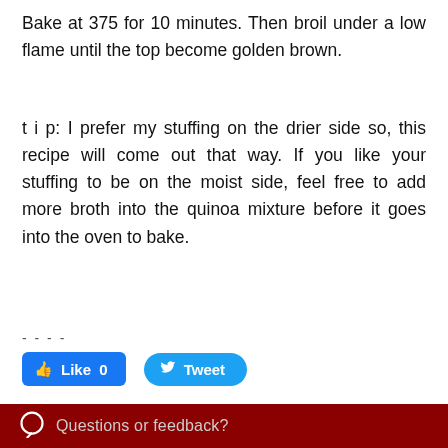Bake at 375 for 10 minutes. Then broil under a low flame until the top become golden brown.
t i p: I prefer my stuffing on the drier side so, this recipe will come out that way. If you like your stuffing to be on the moist side, feel free to add more broth into the quinoa mixture before it goes into the oven to bake.
- - - -
[Figure (screenshot): Facebook Like button showing 0 likes and a Twitter Tweet button]
0 Comments
Questions or feedback?